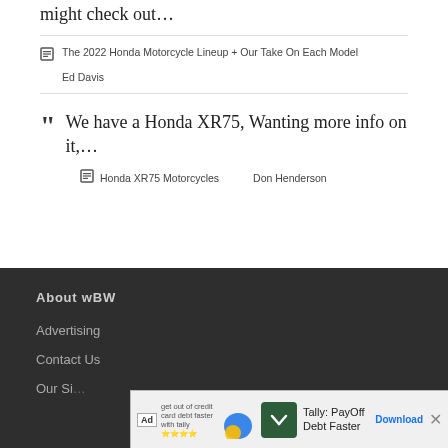might check out…
The 2022 Honda Motorcycle Lineup + Our Take On Each Model
Ed Davis
We have a Honda XR75, Wanting more info on it,…
Honda XR75 Motorcycles   Don Henderson
About wBW
Advertising
Contact Us
Our Si…
[Figure (screenshot): Ad banner: Tally: PayOff Debt Faster with Download button and close button]